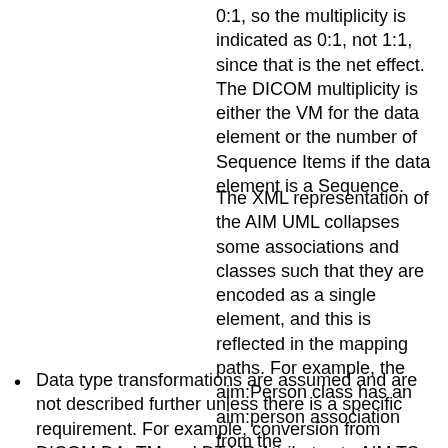0:1, so the multiplicity is indicated as 0:1, not 1:1, since that is the net effect. The DICOM multiplicity is either the VM for the data element or the number of Sequence Items if the data element is a Sequence.
The XML representation of the AIM UML collapses some associations and classes such that they are encoded as a single element, and this is reflected in the mapping paths. For example, the aim:Person class has an aim:person association from the aim:ImageAnnotationCollection class, so the path to the aim:name attribute is expressed as /ImageAnnotationCollection/person/name, as it appears in the XML instance.
Data type transformations are assumed and are not described further unless there is a specific requirement. For example, conversion from DICOM DA, TM and DT VR Attributes to AIM TS Data Type values is implicit, including extraction/population of the appropriate sub-fields (i.e., only the date